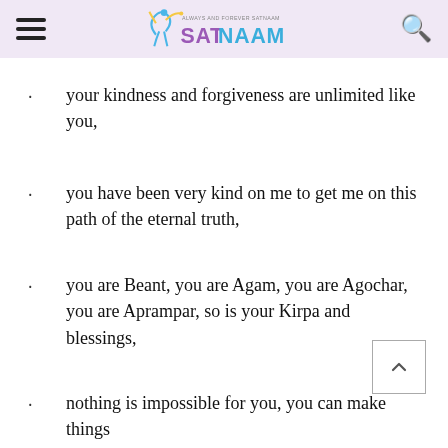ALWAYS AND FOREVER SATNAAM — SATNAAM
your kindness and forgiveness are unlimited like you,
you have been very kind on me to get me on this path of the eternal truth,
you are Beant, you are Agam, you are Agochar, you are Aprampar, so is your Kirpa and blessings,
nothing is impossible for you, you can make things